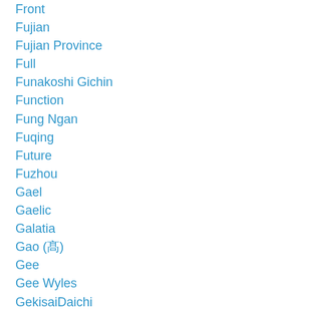Front
Fujian
Fujian Province
Full
Funakoshi Gichin
Function
Fung Ngan
Fuqing
Future
Fuzhou
Gael
Gaelic
Galatia
Gao (髙)
Gee
Gee Wyles
GekisaiDaichi
Gekisaidaini
Geksai
Gene Ching
General Qi Ji Guang